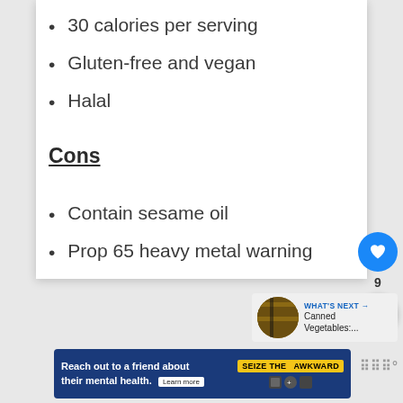30 calories per serving
Gluten-free and vegan
Halal
Cons
Contain sesame oil
Prop 65 heavy metal warning
[Figure (screenshot): Blue heart/like button with count 9 and share button floating on right side]
[Figure (screenshot): What's Next panel with canned vegetables thumbnail and label]
[Figure (screenshot): Advertisement banner: Reach out to a friend about their mental health. Seize the Awkward. Learn more.]